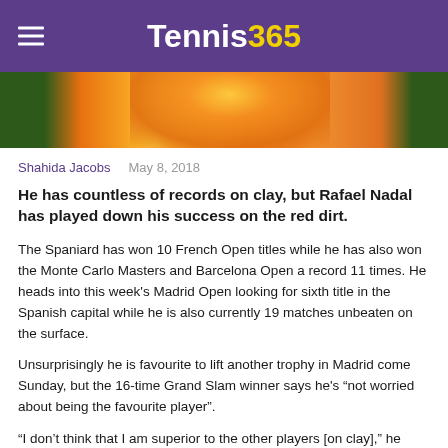Tennis365
[Figure (photo): Partial photo of Rafael Nadal in orange shirt on clay court, cropped to show torso and top of head]
Shahida Jacobs   May 8, 2018
He has countless of records on clay, but Rafael Nadal has played down his success on the red dirt.
The Spaniard has won 10 French Open titles while he has also won the Monte Carlo Masters and Barcelona Open a record 11 times. He heads into this week's Madrid Open looking for sixth title in the Spanish capital while he is also currently 19 matches unbeaten on the surface.
Unsurprisingly he is favourite to lift another trophy in Madrid come Sunday, but the 16-time Grand Slam winner says he's “not worried about being the favourite player”.
“I don't think that I am superior to the other players [on clay],” he said. “Maybe some tournaments have been better than others, but